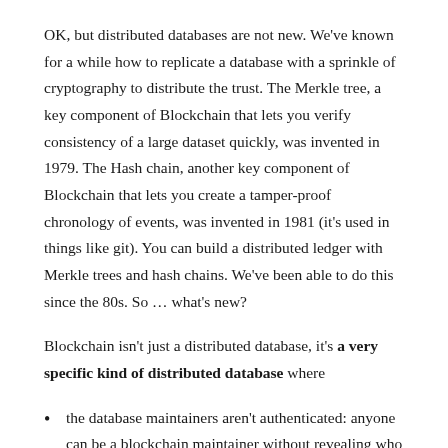OK, but distributed databases are not new. We've known for a while how to replicate a database with a sprinkle of cryptography to distribute the trust. The Merkle tree, a key component of Blockchain that lets you verify consistency of a large dataset quickly, was invented in 1979. The Hash chain, another key component of Blockchain that lets you create a tamper-proof chronology of events, was invented in 1981 (it's used in things like git). You can build a distributed ledger with Merkle trees and hash chains. We've been able to do this since the 80s. So … what's new?
Blockchain isn't just a distributed database, it's a very specific kind of distributed database where
the database maintainers aren't authenticated: anyone can be a blockchain maintainer without revealing who